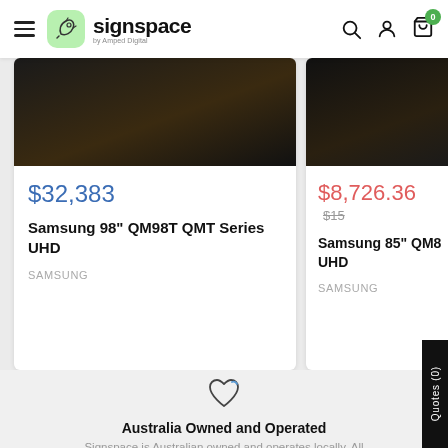signspace by Amped Digital
[Figure (screenshot): Product card for Samsung 98" QM98T QMT Series UHD showing price $32,383 and brand SAMSUNG]
[Figure (screenshot): Product card for Samsung 85" QM8... UHD showing sale price $8,726.36 with original price ~$15... and brand SAMSUNG]
Australia Owned and Operated
Signspace is Australian owned and operates locally. All warehousing, distribution and logistics is Australia based.